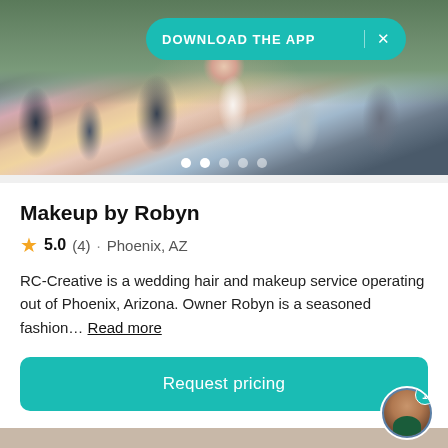[Figure (photo): Wedding party photo showing groomsmen in dark suits and bridesmaids in blue-grey dresses holding colorful bouquets including pink and yellow flowers, with a bride in white holding a large pink and orange bouquet]
DOWNLOAD THE APP  X
Makeup by Robyn
5.0 (4) · Phoenix, AZ
RC-Creative is a wedding hair and makeup service operating out of Phoenix, Arizona. Owner Robyn is a seasoned fashion… Read more
Request pricing